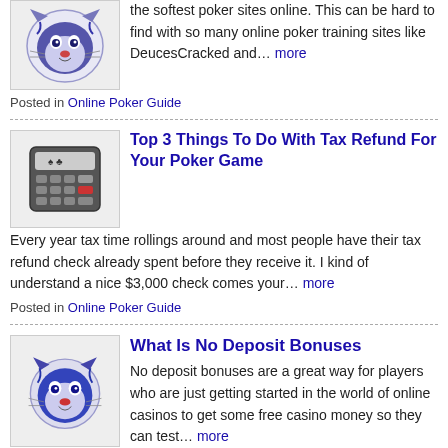the softest poker sites online. This can be hard to find with so many online poker training sites like DeucesCracked and… more
Posted in Online Poker Guide
Top 3 Things To Do With Tax Refund For Your Poker Game
Every year tax time rollings around and most people have their tax refund check already spent before they receive it. I kind of understand a nice $3,000 check comes your… more
Posted in Online Poker Guide
What Is No Deposit Bonuses
No deposit bonuses are a great way for players who are just getting started in the world of online casinos to get some free casino money so they can test… more
Posted in Online Poker Guide